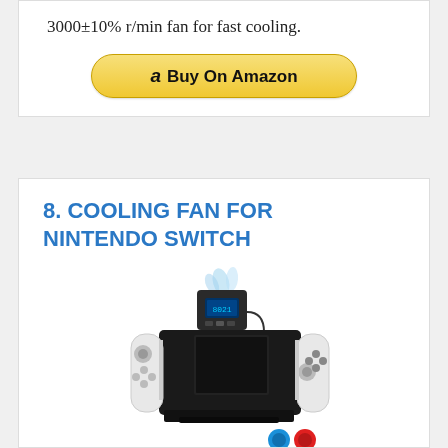3000±10% r/min fan for fast cooling.
[Figure (other): Buy On Amazon button with Amazon logo]
8. COOLING FAN FOR NINTENDO SWITCH
[Figure (photo): Photo of a cooling fan accessory mounted on top of a Nintendo Switch OLED console with white Joy-Cons, a blue LED display on the fan unit, and two thumbstick caps (blue and red) beside the console.]
PREVENT SWITCH FROM OVERHEATING▯ The